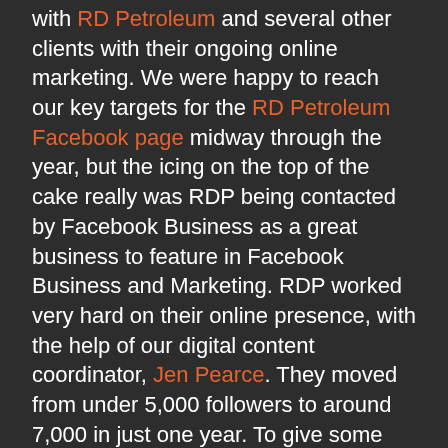with RD Petroleum and several other clients with their ongoing online marketing. We were happy to reach our key targets for the RD Petroleum Facebook page midway through the year, but the icing on the top of the cake really was RDP being contacted by Facebook Business as a great business to feature in Facebook Business and Marketing. RDP worked very hard on their online presence, with the help of our digital content coordinator, Jen Pearce. They moved from under 5,000 followers to around 7,000 in just one year. To give some perspective about 5,738 New Zealand Facebook pages have 5,000 followers, and only 1,092 pages have 7,000. That's a big difference! They have a clear marketing plan made in conjunction with Turboweb, which means that all content generated, no matter the purpose, fits their branding.
Bring on the New Year!